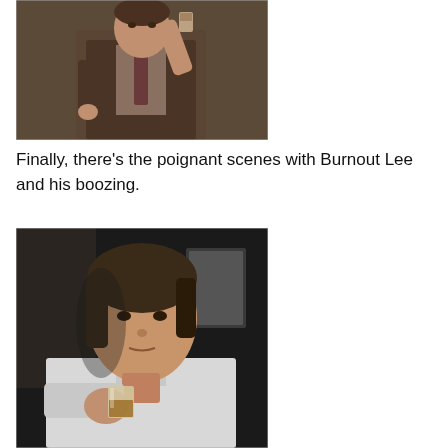[Figure (photo): A man in a brown suit holding a drink (glass) up near his face, dark background, TV show still.]
Finally, there’s the poignant scenes with Burnout Lee and his boozing.
[Figure (photo): A man with dark hair in a white shirt holding a glass of amber drink, looking pensive, dark background, TV show still.]